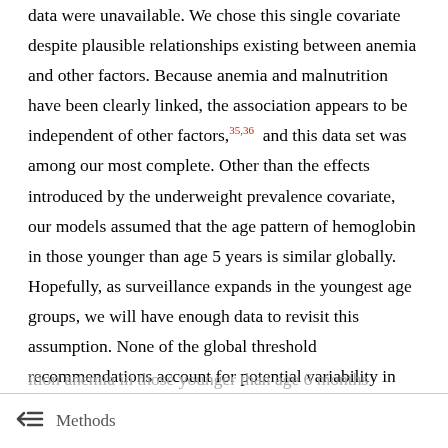data were unavailable. We chose this single covariate despite plausible relationships existing between anemia and other factors. Because anemia and malnutrition have been clearly linked, the association appears to be independent of other factors,35,36 and this data set was among our most complete. Other than the effects introduced by the underweight prevalence covariate, our models assumed that the age pattern of hemoglobin in those younger than age 5 years is similar globally. Hopefully, as surveillance expands in the youngest age groups, we will have enough data to revisit this assumption. None of the global threshold recommendations account for potential variability in populations or ethnicities, and they do not contain any
Methods
ition anemia in those younger than age 6 months
The appropriate hemoglobin cutoff for those younger th...